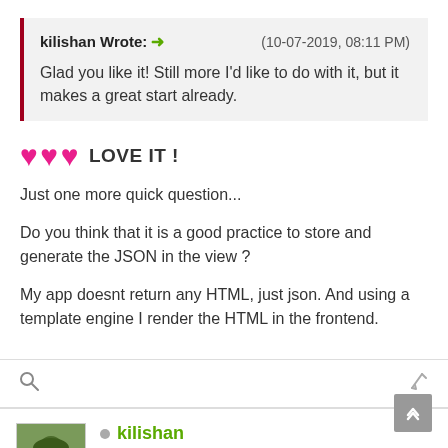kilishan Wrote: (10-07-2019, 08:11 PM) Glad you like it! Still more I'd like to do with it, but it makes a great start already.
❤❤❤ LOVE IT !
Just one more quick question...
Do you think that it is a good practice to store and generate the JSON in the view ?
My app doesnt return any HTML, just json. And using a template engine I render the HTML in the frontend.
kilishan CI Project Lead